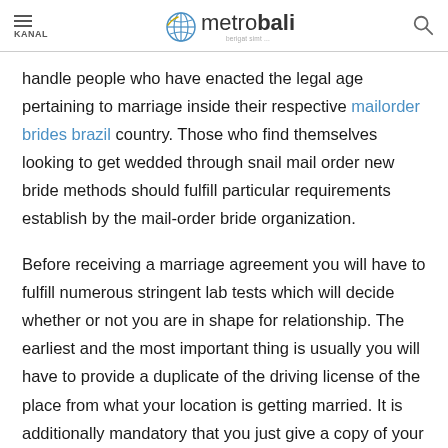KANAL | metrobali
handle people who have enacted the legal age pertaining to marriage inside their respective mailorder brides brazil country. Those who find themselves looking to get wedded through snail mail order new bride methods should fulfill particular requirements establish by the mail-order bride organization.
Before receiving a marriage agreement you will have to fulfill numerous stringent lab tests which will decide whether or not you are in shape for relationship. The earliest and the most important thing is usually you will have to provide a duplicate of the driving license of the place from what your location is getting married. It is additionally mandatory that you just give a copy of your